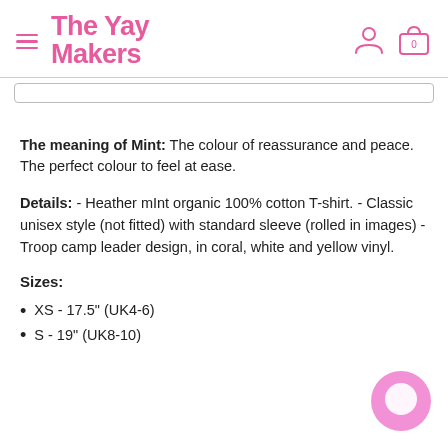The Yay Makers
The meaning of Mint: The colour of reassurance and peace. The perfect colour to feel at ease.
Details: - Heather mInt organic 100% cotton T-shirt. - Classic unisex style (not fitted) with standard sleeve (rolled in images) - Troop camp leader design, in coral, white and yellow vinyl.
Sizes:
XS - 17.5" (UK4-6)
S - 19" (UK8-10)